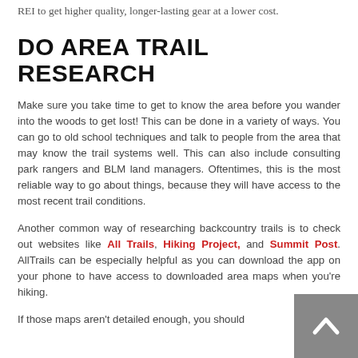REI to get higher quality, longer-lasting gear at a lower cost.
DO AREA TRAIL RESEARCH
Make sure you take time to get to know the area before you wander into the woods to get lost! This can be done in a variety of ways. You can go to old school techniques and talk to people from the area that may know the trail systems well. This can also include consulting park rangers and BLM land managers. Oftentimes, this is the most reliable way to go about things, because they will have access to the most recent trail conditions.
Another common way of researching backcountry trails is to check out websites like All Trails, Hiking Project, and Summit Post. AllTrails can be especially helpful as you can download the app on your phone to have access to downloaded area maps when you're hiking.
If those maps aren't detailed enough, you should